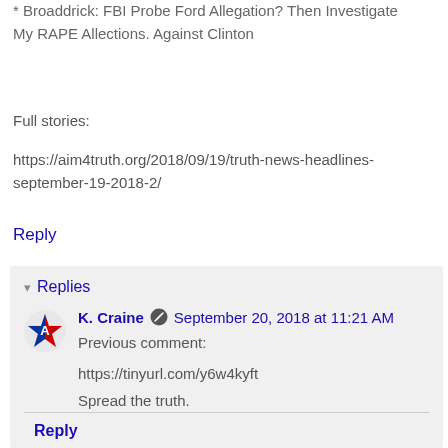* Broaddrick: FBI Probe Ford Allegation? Then Investigate My RAPE Allections. Against Clinton
Full stories:
https://aim4truth.org/2018/09/19/truth-news-headlines-september-19-2018-2/
Reply
Replies
K. Craine  September 20, 2018 at 11:21 AM
Previous comment:
https://tinyurl.com/y6w4kyft
Spread the truth.
Reply